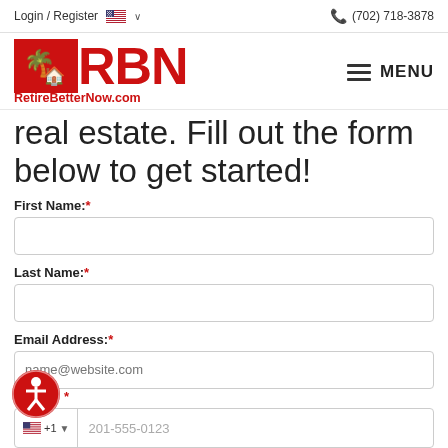Login / Register  🇺🇸 ∨    📞 (702) 718-3878
[Figure (logo): RBN logo with red box containing palm tree and house icon, red text RBN, and red subtitle RetireBetterNow.com]
real estate. Fill out the form below to get started!
First Name:*
Last Name:*
Email Address:*
Phone:*
placeholder: name@website.com, 201-555-0123